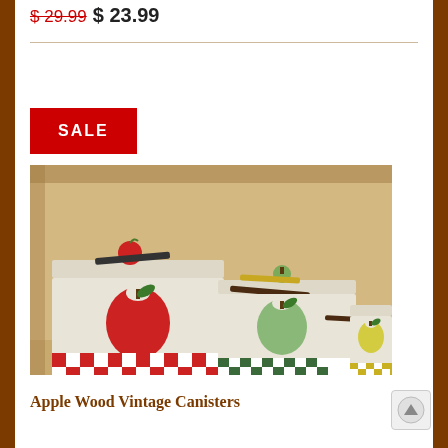$ 29.99  $ 23.99
[Figure (photo): Three apple-motif wooden vintage canisters sitting on a shelf. The canisters are white/cream colored with painted apple designs and checkered borders. The largest has a red apple with red gingham, the middle has a green apple with green gingham, and the smallest has a yellow apple with yellow gingham. Various markers/pens are resting on top of the lids. A red apple-shaped topper is on the largest canister lid.]
SALE
Apple Wood Vintage Canisters